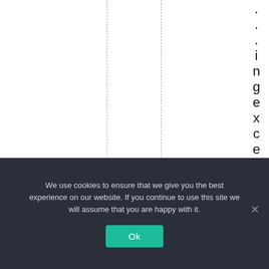[Figure (other): Partial view of a document or table with two vertical dashed lines and vertical text on the right side reading '...ingexcessviolencew']
We use cookies to ensure that we give you the best experience on our website. If you continue to use this site we will assume that you are happy with it.
Ok